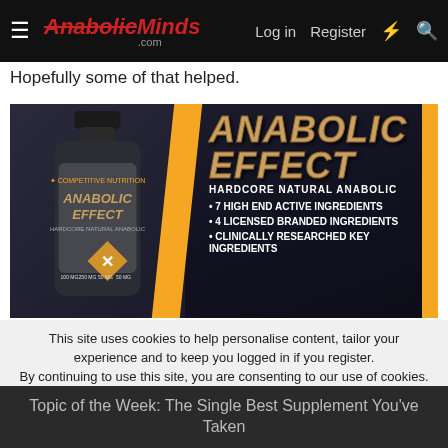AnabolicMinds.com — Log in  Register
Hopefully some of that helped.
[Figure (photo): Advertisement for Anabolic Effect supplement by Competitive Nutrition. Shows a black supplement bottle on the left and text on the right reading: ANABOLIC EFFECT — HARDCORE NATURAL ANABOLIC — 7 HIGH END ACTIVE INGREDIENTS — 4 LICENSED BRANDED INGREDIENTS — CLINICALLY RESEARCHED KEY INGREDIENTS]
This site uses cookies to help personalise content, tailor your experience and to keep you logged in if you register.
By continuing to use this site, you are consenting to our use of cookies.
Topic of the Week: The Single Best Supplement You've Taken